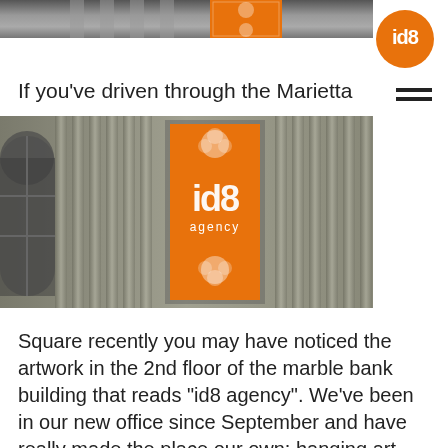[Figure (photo): Top strip: partial photo of a stone building facade with an orange id8 agency banner in a window, cropped at the top]
[Figure (logo): Orange circular logo with white text 'id8' inside]
If you’ve driven through the Marietta
[Figure (photo): Photo of a stone building facade with classical columns and an arched window on the left, and an orange id8 agency banner sign in an upper window]
Square recently you may have noticed the artwork in the 2nd floor of the marble bank building that reads “id8 agency”. We’ve been in our new office since September and have really made the place our own: hanging art and decorative lettering, and